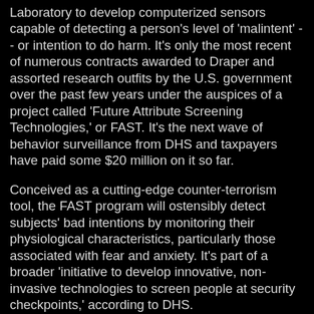Laboratory to develop computerized sensors capable of detecting a person's level of 'malintent' -- or intention to do harm. It's only the most recent of numerous contracts awarded to Draper and assorted research outfits by the U.S. government over the past few years under the auspices of a project called 'Future Attribute Screening Technologies,' or FAST. It's the next wave of behavior surveillance from DHS and taxpayers have paid some $20 million on it so far.
Conceived as a cutting-edge counter-terrorism tool, the FAST program will ostensibly detect subjects' bad intentions by monitoring their physiological characteristics, particularly those associated with fear and anxiety. It's part of a broader 'initiative to develop innovative, non-invasive technologies to screen people at security checkpoints,' according to DHS.
The 'non-invasive' claim might be a bit of a stretch. A DHS report issued last December outlined some of the possible technological features of FAST, which